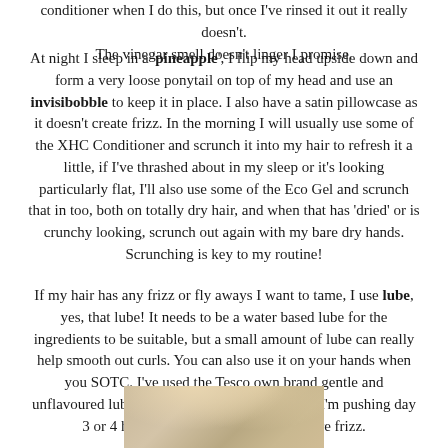conditioner when I do this, but once I've rinsed it out it really doesn't. The vinegar smell doesn't linger I promise.
At night I sleep in a 'pineapple', I flip my head upside down and form a very loose ponytail on top of my head and use an invisibobble to keep it in place. I also have a satin pillowcase as it doesn't create frizz. In the morning I will usually use some of the XHC Conditioner and scrunch it into my hair to refresh it a little, if I've thrashed about in my sleep or it's looking particularly flat, I'll also use some of the Eco Gel and scrunch that in too, both on totally dry hair, and when that has 'dried' or is crunchy looking, scrunch out again with my bare dry hands. Scrunching is key to my routine!
If my hair has any frizz or fly aways I want to tame, I use lube, yes, that lube! It needs to be a water based lube for the ingredients to be suitable, but a small amount of lube can really help smooth out curls. You can also use it on your hands when you SOTC. I've used the Tesco own brand gentle and unflavoured lube and tend to find it helps when I'm pushing day 3 or 4 hair when I tend to have a bit more frizz.
[Figure (photo): Photo of a person with curly hair, cropped at the top of the frame showing the top of the head]